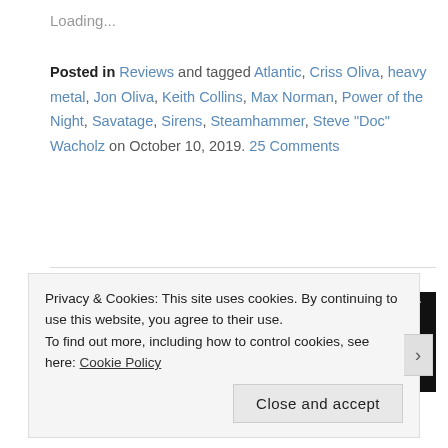Loading...
Posted in Reviews and tagged Atlantic, Criss Oliva, heavy metal, Jon Oliva, Keith Collins, Max Norman, Power of the Night, Savatage, Sirens, Steamhammer, Steve "Doc" Wacholz on October 10, 2019. 25 Comments
[Figure (photo): Album cover images — left half shows a dark sepia-toned cover with text 'FEATURES LOST SAVATAGE TRACKS', right half shows a dark cover with green Savatage logo and text 'INCLUDES THE DUNGEONS ARE CALLING MINI ALBUM & LOST SAVATAGE TRACKS']
Privacy & Cookies: This site uses cookies. By continuing to use this website, you agree to their use.
To find out more, including how to control cookies, see here: Cookie Policy
Close and accept